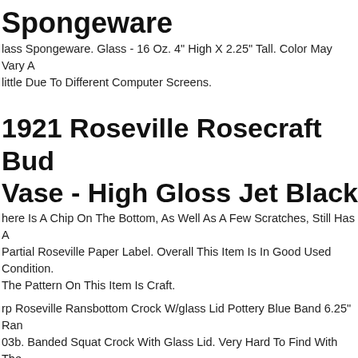Spongeware
lass Spongeware. Glass - 16 Oz. 4" High X 2.25" Tall. Color May Vary A little Due To Different Computer Screens.
1921 Roseville Rosecraft Bud Vase - High Gloss Jet Black
here Is A Chip On The Bottom, As Well As A Few Scratches, Still Has A Partial Roseville Paper Label. Overall This Item Is In Good Used Condition. The Pattern On This Item Is Craft.
rp Roseville Ransbottom Crock W/glass Lid Pottery Blue Band 6.25" Ran 03b. Banded Squat Crock With Glass Lid. Very Hard To Find With The Matching Lid. With The Lid It Is 6.5" Tall.
intage Newark Nj Milk Glass Ashtray Peres Lounge Bar Roseville & Seventh Ave. Peres Lounge-bar. Roseville & Seventh Ave. Material Glass. Circayear 40+ Years Old.
oseville Ohio Pottery Grass Hopper Flower Planter R p n s o No 416